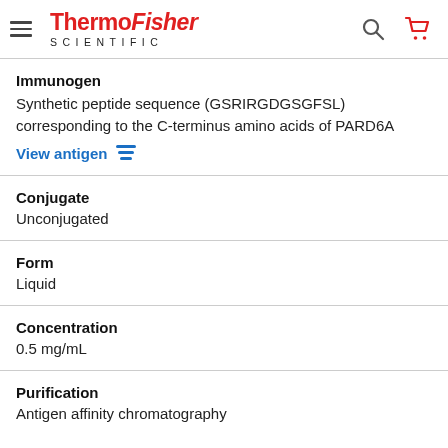[Figure (logo): ThermoFisher Scientific logo with hamburger menu, search icon, and cart icon in header]
Immunogen
Synthetic peptide sequence (GSRIRGDGSGFSL) corresponding to the C-terminus amino acids of PARD6A
View antigen
Conjugate
Unconjugated
Form
Liquid
Concentration
0.5 mg/mL
Purification
Antigen affinity chromatography